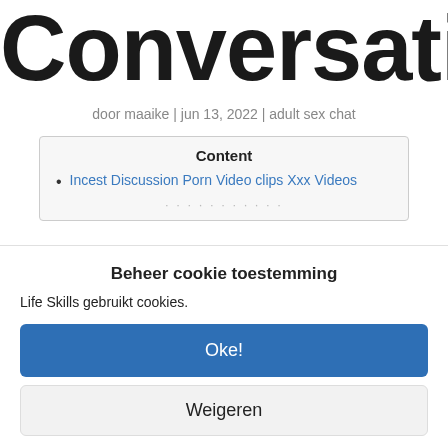Conversatio
door maaike | jun 13, 2022 | adult sex chat
Content
Incest Discussion Porn Video clips Xxx Videos
Beheer cookie toestemming
Life Skills gebruikt cookies.
Oke!
Weigeren